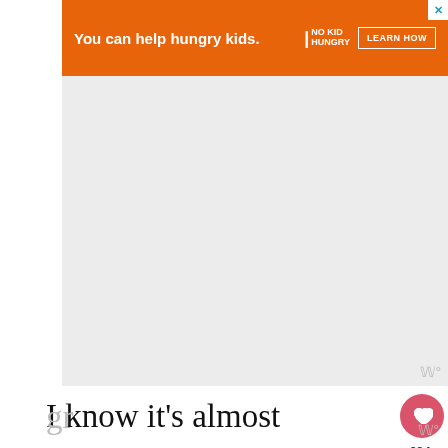[Figure (other): Orange advertisement banner for No Kid Hungry: 'You can help hungry kids.' with LEARN HOW button]
[Figure (other): Large empty gray/white placeholder image area]
I know it's almost summer and grilling season is upon us, but I wanted to share one of our very favorite quick weeknight meals with you.
This Easy Fettuccine Alfredo comes to ease and is perfect on its own or topped with gr